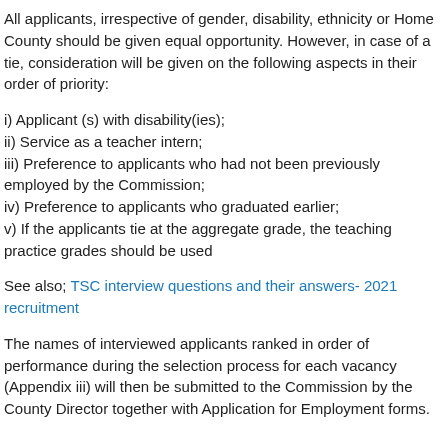All applicants, irrespective of gender, disability, ethnicity or Home County should be given equal opportunity. However, in case of a tie, consideration will be given on the following aspects in their order of priority:
i) Applicant (s) with disability(ies);
ii) Service as a teacher intern;
iii) Preference to applicants who had not been previously employed by the Commission;
iv) Preference to applicants who graduated earlier;
v) If the applicants tie at the aggregate grade, the teaching practice grades should be used
See also; TSC interview questions and their answers- 2021 recruitment
The names of interviewed applicants ranked in order of performance during the selection process for each vacancy (Appendix iii) will then be submitted to the Commission by the County Director together with Application for Employment forms.